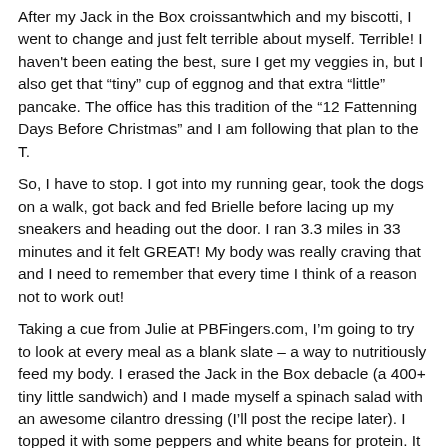After my Jack in the Box croissantwhich and my biscotti, I went to change and just felt terrible about myself.  Terrible!  I haven't been eating the best, sure I get my veggies in, but I also get that "tiny" cup of eggnog and that extra "little" pancake.  The office has this tradition of the "12 Fattenning Days Before Christmas" and I am following that plan to the T.
So, I have to stop.  I got into my running gear, took the dogs on a walk, got back and fed Brielle before lacing up my sneakers and heading out the door.  I ran 3.3 miles in 33 minutes and it felt GREAT!  My body was really craving that and I need to remember that every time I think of a reason not to work out!
Taking a cue from Julie at PBFingers.com, I'm going to try to look at every meal as a blank slate – a way to nutritiously feed my body.  I erased the Jack in the Box debacle (a 400+ tiny little sandwich) and I made myself a spinach salad with an awesome cilantro dressing (I'll post the recipe later).  I topped it with some peppers and white beans for protein.  It was mucho yummy and made me feel like I was more in control of it all.